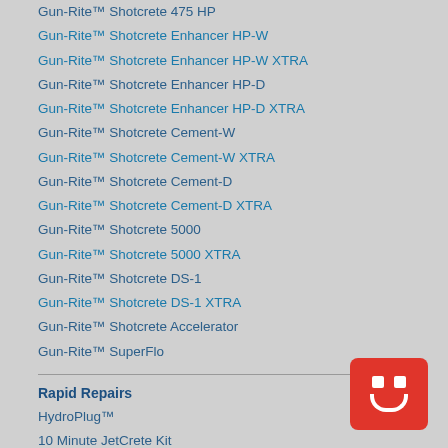Gun-Rite™ Shotcrete 475 HP
Gun-Rite™ Shotcrete Enhancer HP-W
Gun-Rite™ Shotcrete Enhancer HP-W XTRA
Gun-Rite™ Shotcrete Enhancer HP-D
Gun-Rite™ Shotcrete Enhancer HP-D XTRA
Gun-Rite™ Shotcrete Cement-W
Gun-Rite™ Shotcrete Cement-W XTRA
Gun-Rite™ Shotcrete Cement-D
Gun-Rite™ Shotcrete Cement-D XTRA
Gun-Rite™ Shotcrete 5000
Gun-Rite™ Shotcrete 5000 XTRA
Gun-Rite™ Shotcrete DS-1
Gun-Rite™ Shotcrete DS-1 XTRA
Gun-Rite™ Shotcrete Accelerator
Gun-Rite™ SuperFlo
Rapid Repairs
HydroPlug™
10 Minute JetCrete Kit
Super HydroPlug™ Concrete Repair Patch
Resurfacing & Floor Leveling
JETaFLOW Self-Leveling Cement-Based Mix™
JETaFLOW™ High Build Self-Leveling Cement-Based Mix